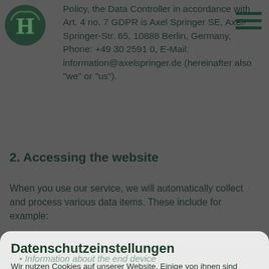Policy, the Data Controller in accordance with Art. 4 no. 7 GDPR is Axel Springer SE, Axel-Springer-Str. 65, 10888 Berlin, Germany, Phone: +49 30 2591 0, E-Mail: information@axelspringer.de (hereinafter also “we” or “us”).
2. Accessing the website
When you use our service, we will automatically collect and process various data items. These include for example:
Information about the end device
accessing the site and the software used
Date and time of the access
Websites from which the user has
accessed our website or which the user accesses through our website
Datenschutzeinstellungen
Wir nutzen Cookies auf unserer Website. Einige von ihnen sind essenziell, während andere uns helfen, diese Website und Ihre Erfahrung zu verbessern.
Essenziell
Externe Medien
Alle akzeptieren